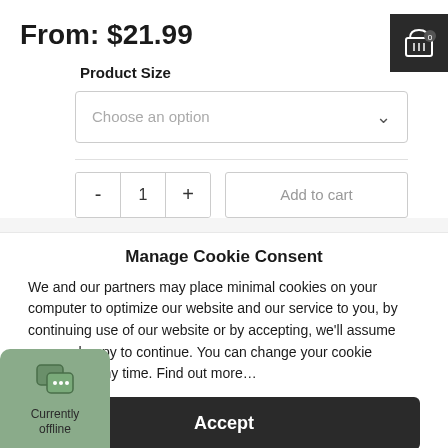From: $21.99
Product Size
Choose an option
- 1 + Add to cart
[Figure (other): Shopping cart icon with badge showing 0]
Manage Cookie Consent
We and our partners may place minimal cookies on your computer to optimize our website and our service to you, by continuing use of our website or by accepting, we'll assume you are happy to continue. You can change your cookie settings at any time. Find out more…
Accept
Cookie Policy   Privacy Statement   Imprint
[Figure (other): Chat widget showing Currently offline with chat bubble icon]